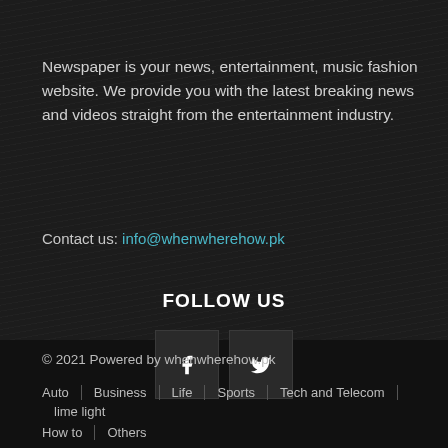Newspaper is your news, entertainment, music fashion website. We provide you with the latest breaking news and videos straight from the entertainment industry.
Contact us: info@whenwherehow.pk
FOLLOW US
[Figure (other): Facebook and Twitter social media icon buttons]
© 2021 Powered by whenwherehow.pk
Auto | Business | Life | Sports | Tech and Telecom | lime light | How to | Others